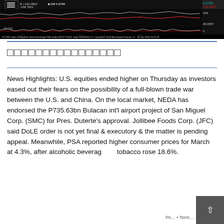[Figure (screenshot): Bloomberg Finance chart screenshot showing PCOMP Index (Philippines Stock Exchange PSEi Index) MFCP CRUZ Daily 04APR2017-0, Copyright 2018 Bloomberg Finance L.P., 06-Apr-2018 16:41:34. Chart shows price line and Diff indicator over Jun 2016 to Mar 2018 timeframe. Values shown: 4.6799, 132.0822, 100, 40.0557. Labels: -136.7621, -48.0552.]
□□□□□□□□□□□□□□□□
News Highlights: U.S. equities ended higher on Thursday as investors eased out their fears on the possibility of a full-blown trade war between the U.S. and China. On the local market, NEDA has endorsed the P735.63bn Bulacan int'l airport project of San Miguel Corp. (SMC) for Pres. Duterte's approval. Jollibee Foods Corp. (JFC) said DoLE order is not yet final & executory & the matter is pending appeal. Meanwhile, PSA reported higher consumer prices for March at 4.3%, after alcoholic beverages & tobacco rose 18.6%.